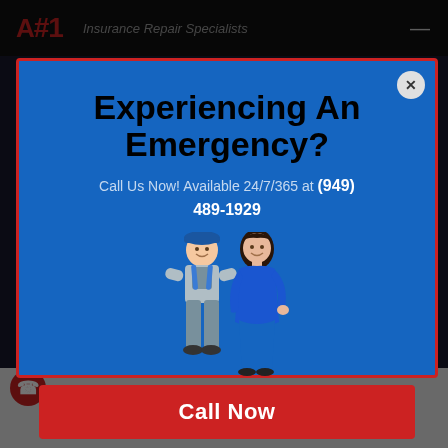A#1 Insurance Repair Specialists
[Figure (screenshot): Website popup modal on blue background with red border. Title: 'Experiencing An Emergency?' Subtitle: 'Call Us Now! Available 24/7/365 at (949) 489-1929'. Image of a male worker in overalls and a woman in blue. Red button: 'Call Now'.]
Experiencing An Emergency?
Call Us Now! Available 24/7/365 at (949) 489-1929
Call Now
ewer pipe failure, or a bad storm? We have successfully restored many homes in the Mission